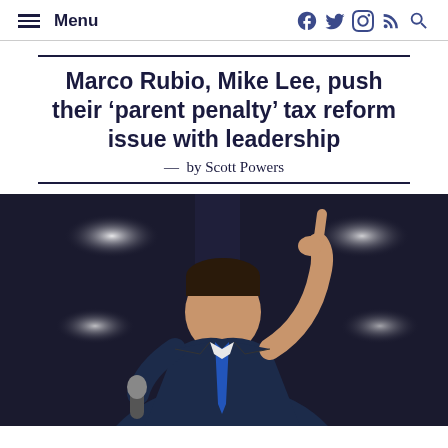Menu
Marco Rubio, Mike Lee, push their ‘parent penalty’ tax reform issue with leadership
—  by Scott Powers
[Figure (photo): Marco Rubio pointing upward with one finger, holding a microphone, wearing a dark suit and blue tie, with stage lights in the background]